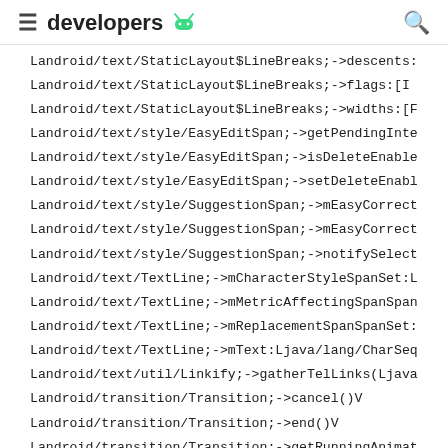developers (Android logo)
Landroid/text/StaticLayout$LineBreaks;->descents:
Landroid/text/StaticLayout$LineBreaks;->flags:[I
Landroid/text/StaticLayout$LineBreaks;->widths:[F
Landroid/text/style/EasyEditSpan;->getPendingInte
Landroid/text/style/EasyEditSpan;->isDeleteEnable
Landroid/text/style/EasyEditSpan;->setDeleteEnabl
Landroid/text/style/SuggestionSpan;->mEasyCorrect
Landroid/text/style/SuggestionSpan;->mEasyCorrect
Landroid/text/style/SuggestionSpan;->notifySelect
Landroid/text/TextLine;->mCharacterStyleSpanSet:L
Landroid/text/TextLine;->mMetricAffectingSpanSpan
Landroid/text/TextLine;->mReplacementSpanSpanSet:
Landroid/text/TextLine;->mText:Ljava/lang/CharSeq
Landroid/text/util/Linkify;->gatherTelLinks(Ljava
Landroid/transition/Transition;->cancel()V
Landroid/transition/Transition;->end()V
Landroid/transition/Transition;->getRunningAnimat
Landroid/transition/TransitionManager;->getRunning
Landroid/util/EventLog$Event;-><init>([B)V
Landroid/util/IconDrawableFactory;->getBadgedIcon